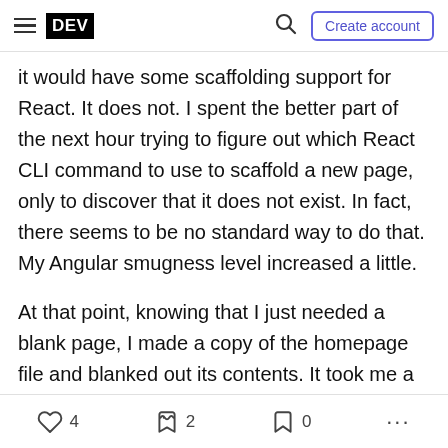DEV | Create account
it would have some scaffolding support for React. It does not. I spent the better part of the next hour trying to figure out which React CLI command to use to scaffold a new page, only to discover that it does not exist. In fact, there seems to be no standard way to do that. My Angular smugness level increased a little.
At that point, knowing that I just needed a blank page, I made a copy of the homepage file and blanked out its contents. It took me a little longer to figure out how to turn it into a "page" to which I could navigate, but I eventually got it to work.
4  2  0  ...